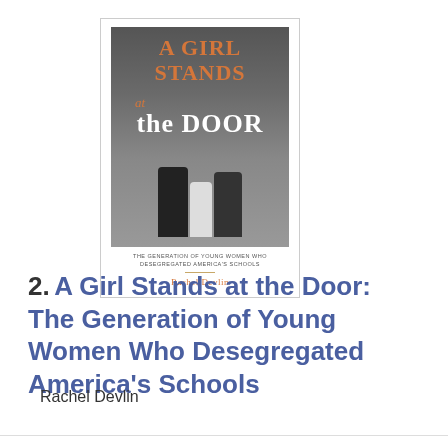[Figure (illustration): Book cover of 'A Girl Stands at the Door: The Generation of Young Women Who Desegregated America's Schools' by Rachel Devlin. Cover shows orange serif title text over a black and white photograph of figures standing at a doorway.]
2. A Girl Stands at the Door: The Generation of Young Women Who Desegregated America's Schools
Rachel Devlin